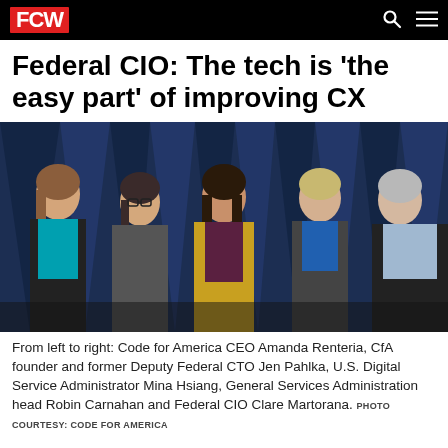FCW
Federal CIO: The tech is 'the easy part' of improving CX
[Figure (photo): Five women standing together posing for a photo on a stage with blue geometric backdrop. From left to right: Amanda Renteria, Jen Pahlka, Mina Hsiang (in yellow blazer), Robin Carnahan, and Clare Martorana.]
From left to right: Code for America CEO Amanda Renteria, CfA founder and former Deputy Federal CTO Jen Pahlka, U.S. Digital Service Administrator Mina Hsiang, General Services Administration head Robin Carnahan and Federal CIO Clare Martorana. PHOTO COURTESY: CODE FOR AMERICA